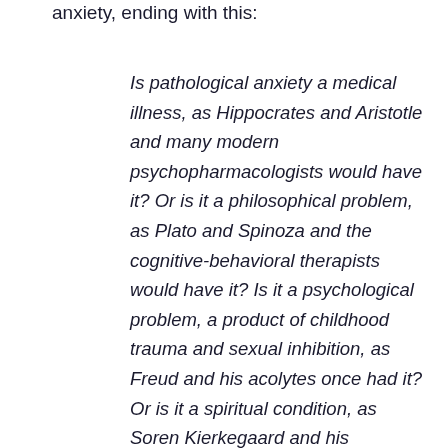anxiety, ending with this:
Is pathological anxiety a medical illness, as Hippocrates and Aristotle and many modern psychopharmacologists would have it? Or is it a philosophical problem, as Plato and Spinoza and the cognitive-behavioral therapists would have it? Is it a psychological problem, a product of childhood trauma and sexual inhibition, as Freud and his acolytes once had it? Or is it a spiritual condition, as Soren Kierkegaard and his existential descendants claimed? Or, finally, is it – as W. H. Auden and David Riesman and Erich